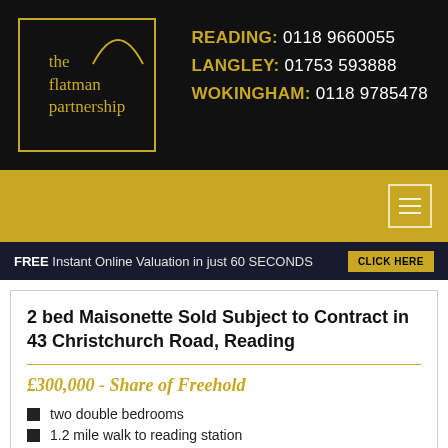[Figure (logo): The Flatman Partnership estate agency logo — gold text on black background inside a gold border, with a gold arc graphic]
READING: 0118 9660055
LANGLEY: 01753 593888
WOKINGHAM: 0118 9785478
[Figure (other): Gold navigation bar with hamburger menu icon on the right]
FREE Instant Online Valuation in just 60 SECONDS   CLICK HERE
2 bed Maisonette Sold Subject to Contract in 43 Christchurch Road, Reading
£300,000 - Share of Freehold
two double bedrooms
1.2 mile walk to reading station
no onward chain
off street parking (partial, cut off)